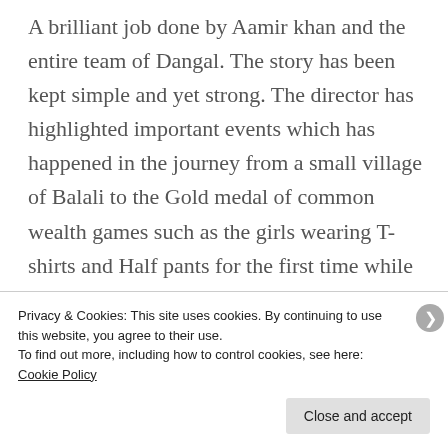A brilliant job done by Aamir khan and the entire team of Dangal. The story has been kept simple and yet strong. The director has highlighted important events which has happened in the journey from a small village of Balali to the Gold medal of common wealth games such as the girls wearing T-shirts and Half pants for the first time while they were training, their hair cut short even when they
Privacy & Cookies: This site uses cookies. By continuing to use this website, you agree to their use.
To find out more, including how to control cookies, see here: Cookie Policy
Close and accept